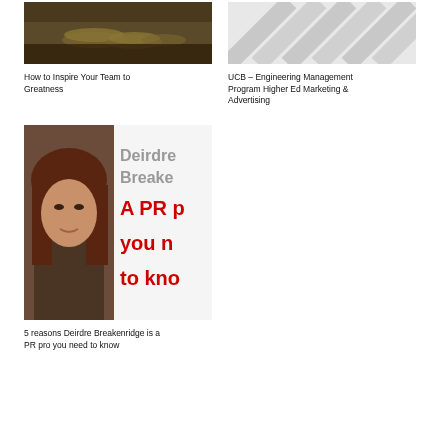[Figure (photo): Blurry photo of gold coins stacked on a surface]
How to Inspire Your Team to Greatness
[Figure (photo): Gray diagonal stripe pattern placeholder image]
UCB – Engineering Management Program Higher Ed Marketing & Advertising
[Figure (photo): Photo of a woman with dark hair next to text reading 'Deirdre Breake A PR p you n to kno']
5 reasons Deirdre Breakenridge is a PR pro you need to know